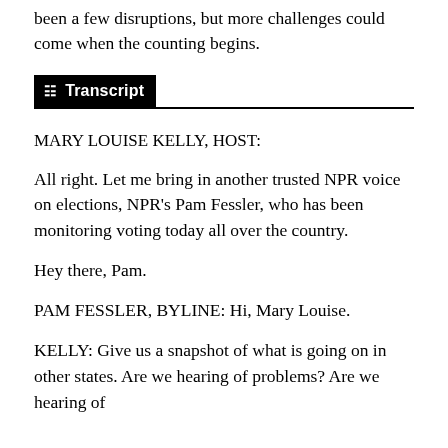been a few disruptions, but more challenges could come when the counting begins.
Transcript
MARY LOUISE KELLY, HOST:
All right. Let me bring in another trusted NPR voice on elections, NPR's Pam Fessler, who has been monitoring voting today all over the country.
Hey there, Pam.
PAM FESSLER, BYLINE: Hi, Mary Louise.
KELLY: Give us a snapshot of what is going on in other states. Are we hearing of problems? Are we hearing of